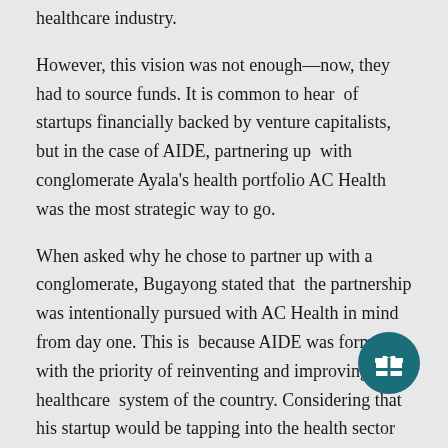healthcare industry.
However, this vision was not enough—now, they had to source funds. It is common to hear of startups financially backed by venture capitalists, but in the case of AIDE, partnering up with conglomerate Ayala's health portfolio AC Health was the most strategic way to go.
When asked why he chose to partner up with a conglomerate, Bugayong stated that the partnership was intentionally pursued with AC Health in mind from day one. This is because AIDE was formed with the priority of reinventing and improving the healthcare system of the country. Considering that his startup would be tapping into the health sector in the Philippines, he mentioned it made much more sense to partner with a renowned institution such as Ayala, which shares a similarly progressive, futuristic, and community-oriented mindset and priority for
[Figure (illustration): Circular dark teal gift button icon with a white gift box symbol]